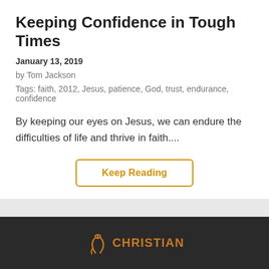Keeping Confidence in Tough Times
January 13, 2019
by Tom Jackson
Tags: faith, 2012, Jesus, patience, God, trust, endurance, confidence
By keeping our eyes on Jesus, we can endure the difficulties of life and thrive in faith....
Keep Reading
[Figure (logo): Christian organization logo with musical note icon and text CHRISTIAN in orange/amber color on dark background]